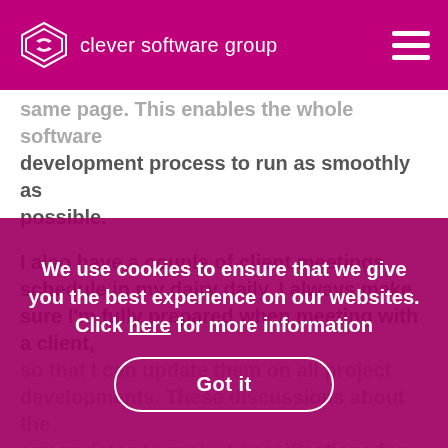clever software group
same page. This enables the whole software development process to run as smoothly as possible.
I also have a couple of client meetings schedule in my dairy daily. I always make sure I'm fully prepared when meeting with a client, so that I can update them on all project developments. These discussions about the any updates to project specifications for our software. The specification options mean that I can assess how long a software development project may take, figure out a clients priorities and outline a bespoke
We use cookies to ensure that we give you the best experience on our websites. Click here for more information
Got it